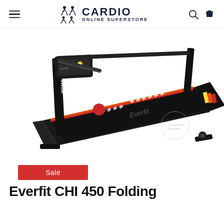CARDIO ONLINE SUPERSTORE
[Figure (photo): Everfit CHI 450 folding treadmill shown at an angle, black with orange and red stripe accents on the running belt, with 'HOME GYM' text on the upright frame and 'Everfit' branding on the deck.]
Sale
Everfit CHI 450 Folding